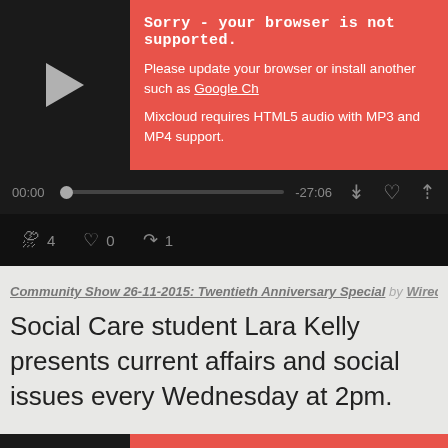[Figure (screenshot): Mixcloud audio player widget with red error box saying 'Sorry - your browser is not supported.' Time shown: 00:00 / -27:06. Footer shows 4 listens, 0 likes, 1 repost.]
Community Show 26-11-2015: Twentieth Anniversary Special by Wired Fm
Social Care student Lara Kelly presents current affairs and social issues every Wednesday at 2pm.
[Figure (screenshot): Mixcloud audio player widget with red error box saying 'Sorry - your browser is not supported.' Time shown: 00:00 / -14:26.]